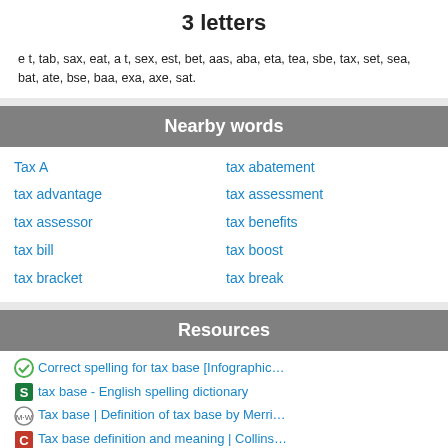3 letters
e t, tab, sax, eat, a t, sex, est, bet, aas, aba, eta, tea, sbe, tax, set, sea, bat, ate, bse, baa, exa, axe, sat.
Nearby words
Tax A
tax abatement
tax advantage
tax assessment
tax assessor
tax benefits
tax bill
tax boost
tax bracket
tax break
Resources
Correct spelling for tax base [Infographic…
tax base - English spelling dictionary
Tax base | Definition of tax base by Merri…
Tax base definition and meaning | Collins…
Tax base | Definition of tax base at Dicti…
Tax base dictionary definition | tax base